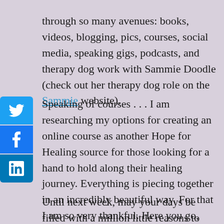through so many avenues: books, videos, blogging, pics, courses, social media, speaking gigs, podcasts, and therapy dog work with Sammie Doodle (check out her therapy dog role on the Sammie website).
Speaking of courses . . . I am researching my options for creating an online course as another Hope for Healing source for those looking for a hand to hold along their healing journey. Everything is piecing together in an incredibly beautiful way. For that I am so very thankful. Here you go, universe: #thanksGod
Until next week, may your days be filled with a million little reasons to smile.